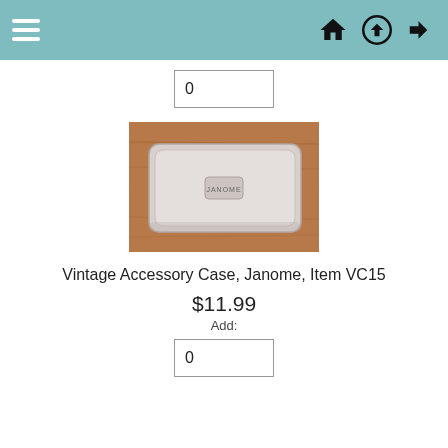Navigation bar with hamburger menu and icons
0
[Figure (photo): A Janome branded plastic accessory case (white/translucent) on a wooden surface]
Vintage Accessory Case, Janome, Item VC15
$11.99
Add:
0